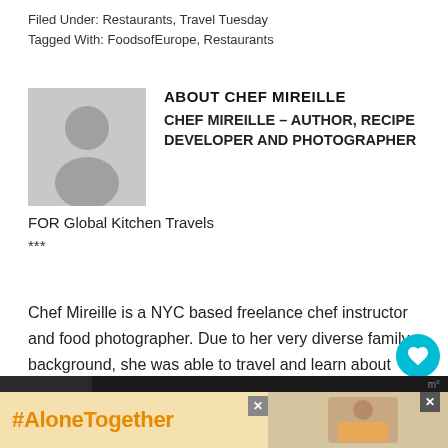Filed Under: Restaurants, Travel Tuesday
Tagged With: FoodsofEurope, Restaurants
ABOUT CHEF MIREILLE
CHEF MIREILLE – AUTHOR, RECIPE DEVELOPER AND PHOTOGRAPHER FOR Global Kitchen Travels
***
Chef Mireille is a NYC based freelance chef instructor and food photographer. Due to her very diverse family background, she was able to travel and learn about global cultures and flavors from a young age. Her passion for culture, cooking, history and education had made her an expert on developing
[Figure (other): Advertisement banner with #AloneTogether hashtag in orange text on yellow background, with a photo of a woman cooking on the right side]
[Figure (other): Gray placeholder avatar silhouette image for Chef Mireille profile]